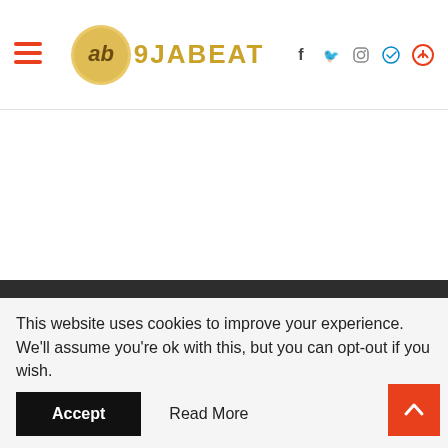9jabeat website header with navigation icons: hamburger menu, logo, facebook, twitter, instagram, telegram, search
[Figure (logo): 9JABEAT logo with circular emblem on the left and text '9JABEAT' in gold/yellow on right]
[Figure (infographic): Footer social media icons row: Facebook (dark blue circle), Twitter (light blue circle), Instagram (gradient circle), Telegram (light blue circle)]
Home  About  Contact  Disclaimer
This website uses cookies to improve your experience. We'll assume you're ok with this, but you can opt-out if you wish.
Accept   Read More